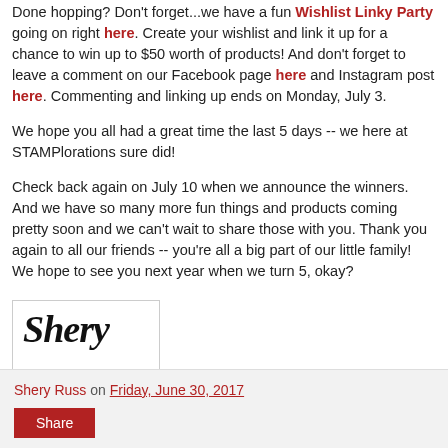Done hopping? Don't forget...we have a fun Wishlist Linky Party going on right here. Create your wishlist and link it up for a chance to win up to $50 worth of products! And don't forget to leave a comment on our Facebook page here and Instagram post here. Commenting and linking up ends on Monday, July 3.
We hope you all had a great time the last 5 days -- we here at STAMPlorations sure did!
Check back again on July 10 when we announce the winners. And we have so many more fun things and products coming pretty soon and we can't wait to share those with you. Thank you again to all our friends -- you're all a big part of our little family! We hope to see you next year when we turn 5, okay?
[Figure (illustration): Handwritten cursive signature reading 'Shery' in black ink on white background inside a light gray bordered box]
Shery Russ on Friday, June 30, 2017
Share